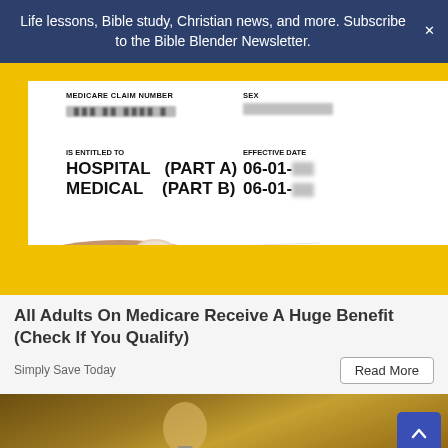Life lessons, Bible study, Christian news, and more. Subscribe to the Bible Blender Newsletter.
[Figure (photo): A hand holding a Medicare insurance card showing MEDICARE CLAIM NUMBER (redacted), SEX (redacted), IS ENTITLED TO: HOSPITAL (PART A) 06-01-, MEDICAL (PART B) 06-01-, EFFECTIVE DATE fields. Card is on a yellow background.]
All Adults On Medicare Receive A Huge Benefit (Check If You Qualify)
Simply Save Today
Read More
[Figure (photo): Bottom portion showing a light bulb on a brown/tan background.]